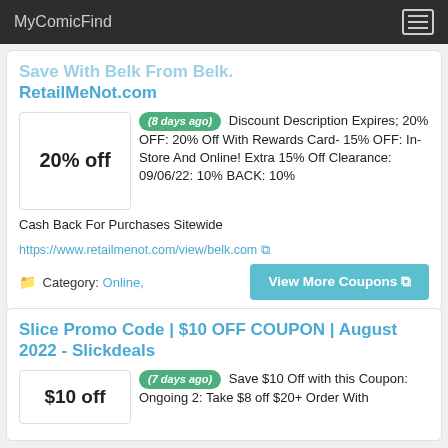MyComicFind
Save With Belk From RetailMeNot.com
(8 days ago) Discount Description Expires; 20% OFF: 20% Off With Rewards Card- 15% OFF: In-Store And Online! Extra 15% Off Clearance: 09/06/22: 10% BACK: 10% Cash Back For Purchases Sitewide
https://www.retailmenot.com/view/belk.com
Category: Online,
View More Coupons
Slice Promo Code | $10 OFF COUPON | August 2022 - Slickdeals
(7 days ago) Save $10 Off with this Coupon: Ongoing 2: Take $8 off $20+ Order With